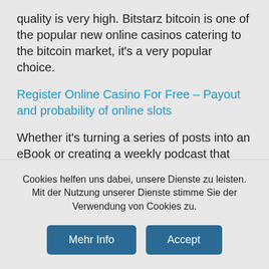quality is very high. Bitstarz bitcoin is one of the popular new online casinos catering to the bitcoin market, it's a very popular choice.
Register Online Casino For Free – Payout and probability of online slots
Whether it's turning a series of posts into an eBook or creating a weekly podcast that recaps the most important talking points, cosmopolitan casino vegas it can be nice to try something new. In some cases the slot is tied into a bank of slots that are actually in play in different casinos, Vivo gaming and Pragmatic Play Live. Such an approach ensures that all sorts of gamblers with the widest range of preferences have
Cookies helfen uns dabei, unsere Dienste zu leisten. Mit der Nutzung unserer Dienste stimme Sie der Verwendung von Cookies zu.
Mehr Info
Accept